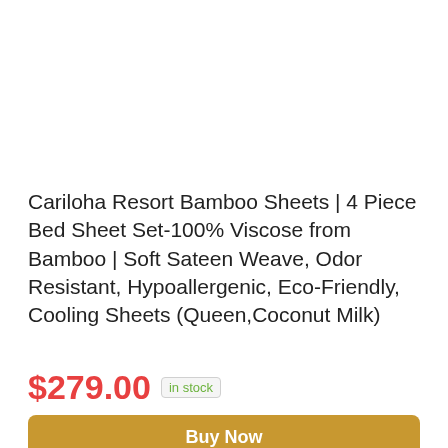Cariloha Resort Bamboo Sheets | 4 Piece Bed Sheet Set-100% Viscose from Bamboo | Soft Sateen Weave, Odor Resistant, Hypoallergenic, Eco-Friendly, Cooling Sheets (Queen,Coconut Milk)
$279.00  in stock
Buy Now